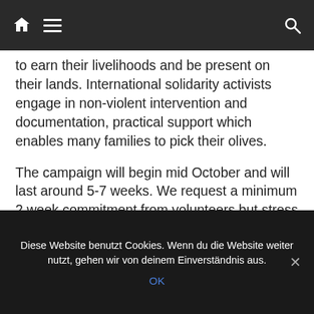Navigation bar with home, menu, and search icons
to earn their livelihoods and be present on their lands. International solidarity activists engage in non-violent intervention and documentation, practical support which enables many families to pick their olives.
The campaign will begin mid October and will last around 5-7 weeks. We request a minimum 2 week commitment from volunteers but stress that long-termers are needed as well. We ask that volunteers start arriving in the first week of October, so that we will be prepared when the
Diese Website benutzt Cookies. Wenn du die Website weiter nutzt, gehen wir von deinem Einverständnis aus.
OK